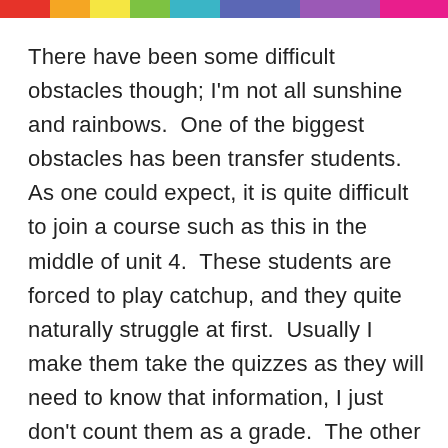[Figure (other): Rainbow colored horizontal bar at top of page with segments: red, orange, yellow, green, teal/cyan, blue, purple/violet, magenta/pink]
There have been some difficult obstacles though; I'm not all sunshine and rainbows.  One of the biggest obstacles has been transfer students.  As one could expect, it is quite difficult to join a course such as this in the middle of unit 4.  These students are forced to play catchup, and they quite naturally struggle at first.  Usually I make them take the quizzes as they will need to know that information, I just don't count them as a grade.  The other problem that I have with is with a few of the readings.  I love the different Lexile levels that